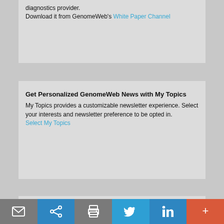diagnostics provider.
Download it from GenomeWeb's White Paper Channel
Get Personalized GenomeWeb News with My Topics
My Topics provides a customizable newsletter experience. Select your interests and newsletter preference to be opted in.
Select My Topics